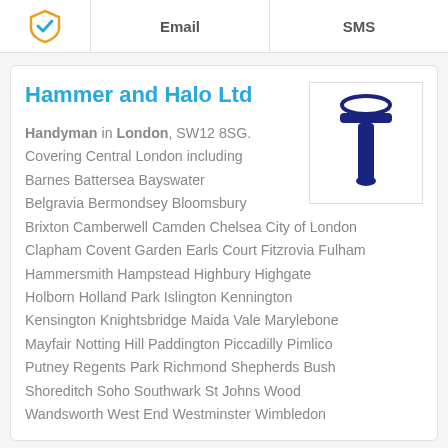|  | Email | SMS |
| --- | --- | --- |
| [shield icon] |  |  |
Hammer and Halo Ltd
[Figure (logo): Hammer and Halo Ltd logo: dark navy letter T with a halo arc above it]
Handyman in London, SW12 8SG. Covering Central London including Barnes Battersea Bayswater Belgravia Bermondsey Bloomsbury Brixton Camberwell Camden Chelsea City of London Clapham Covent Garden Earls Court Fitzrovia Fulham Hammersmith Hampstead Highbury Highgate Holborn Holland Park Islington Kennington Kensington Knightsbridge Maida Vale Marylebone Mayfair Notting Hill Paddington Piccadilly Pimlico Putney Regents Park Richmond Shepherds Bush Shoreditch Soho Southwark St Johns Wood Wandsworth West End Westminster Wimbledon